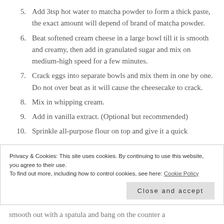5. Add 3tsp hot water to matcha powder to form a thick paste, the exact amount will depend of brand of matcha powder.
6. Beat softened cream cheese in a large bowl till it is smooth and creamy, then add in granulated sugar and mix on medium-high speed for a few minutes.
7. Crack eggs into separate bowls and mix them in one by one. Do not over beat as it will cause the cheesecake to crack.
8. Mix in whipping cream.
9. Add in vanilla extract. (Optional but recommended)
10. Sprinkle all-purpose flour on top and give it a quick
Privacy & Cookies: This site uses cookies. By continuing to use this website, you agree to their use.
To find out more, including how to control cookies, see here: Cookie Policy
Close and accept
smooth out with a spatula and bang on the counter a